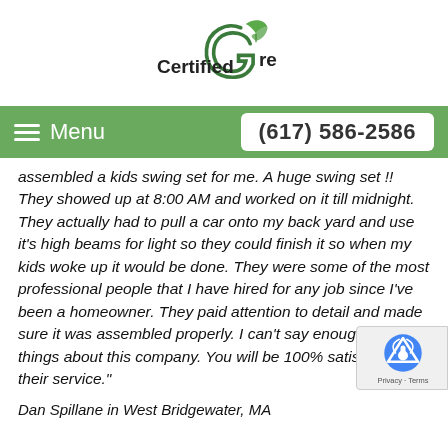[Figure (logo): Certified Gre logo with green leaf graphic above the text]
Menu   (617) 586-2586
assembled a kids swing set for me. A huge swing set !! They showed up at 8:00 AM and worked on it till midnight. They actually had to pull a car onto my back yard and use it's high beams for light so they could finish it so when my kids woke up it would be done. They were some of the most professional people that I have hired for any job since I've been a homeowner. They paid attention to detail and made sure it was assembled properly. I can't say enough good things about this company. You will be 100% satisfied with their service."
Dan Spillane in West Bridgewater, MA